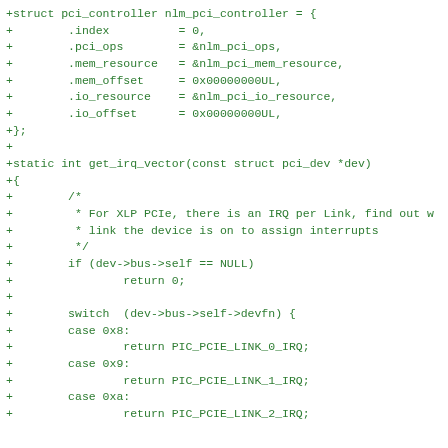+struct pci_controller nlm_pci_controller = {
+        .index          = 0,
+        .pci_ops        = &nlm_pci_ops,
+        .mem_resource   = &nlm_pci_mem_resource,
+        .mem_offset     = 0x00000000UL,
+        .io_resource    = &nlm_pci_io_resource,
+        .io_offset      = 0x00000000UL,
+};
+
+static int get_irq_vector(const struct pci_dev *dev)
+{
+        /*
+         * For XLP PCIe, there is an IRQ per Link, find out w
+         * link the device is on to assign interrupts
+         */
+        if (dev->bus->self == NULL)
+                return 0;
+
+        switch  (dev->bus->self->devfn) {
+        case 0x8:
+                return PIC_PCIE_LINK_0_IRQ;
+        case 0x9:
+                return PIC_PCIE_LINK_1_IRQ;
+        case 0xa:
+                return PIC_PCIE_LINK_2_IRQ;